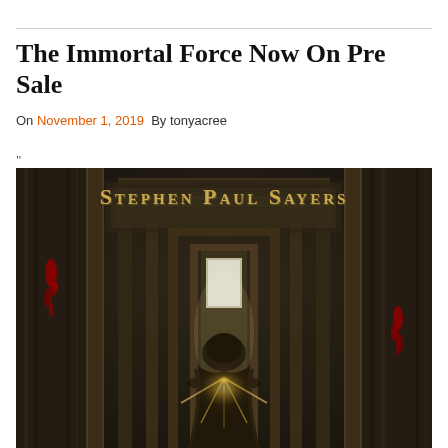The Immortal Force Now On Pre Sale
On November 1, 2019  By tonyacree
"
[Figure (illustration): Book cover for 'The Immortal Force' by Stephen Paul Sayers. A dark atmospheric image showing a hooded figure walking through a corridor of ornate doorways toward a bright light source. The scene has a dark, gothic feel with red blood splatter on the walls and dramatic lighting. The author's name 'Stephen Paul Sayers' is displayed in gold serif text at the top.]